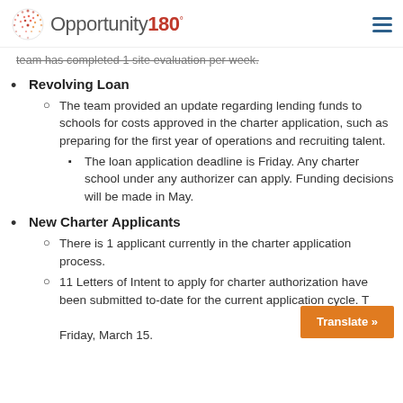Opportunity180°
team has completed 1 site evaluation per week.
Revolving Loan
The team provided an update regarding lending funds to schools for costs approved in the charter application, such as preparing for the first year of operations and recruiting talent.
The loan application deadline is Friday. Any charter school under any authorizer can apply. Funding decisions will be made in May.
New Charter Applicants
There is 1 applicant currently in the charter application process.
11 Letters of Intent to apply for charter authorization have been submitted to-date for the current application cycle. T Friday, March 15.